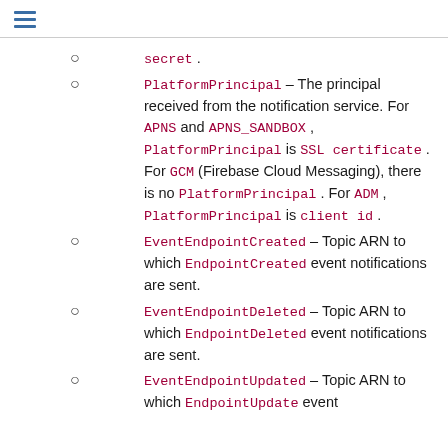secret .
PlatformPrincipal – The principal received from the notification service. For APNS and APNS_SANDBOX , PlatformPrincipal is SSL certificate . For GCM (Firebase Cloud Messaging), there is no PlatformPrincipal . For ADM , PlatformPrincipal is client id .
EventEndpointCreated – Topic ARN to which EndpointCreated event notifications are sent.
EventEndpointDeleted – Topic ARN to which EndpointDeleted event notifications are sent.
EventEndpointUpdated – Topic ARN to which EndpointUpdate event